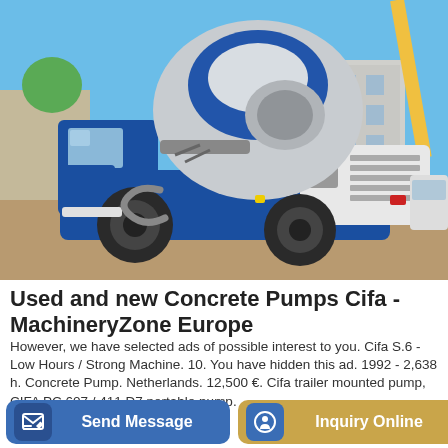[Figure (photo): A blue and white self-loading concrete mixer truck (CIFA brand) on a construction site with blue sky background and a building under construction in the background.]
Used and new Concrete Pumps Cifa - MachineryZone Europe
However, we have selected ads of possible interest to you. Cifa S.6 - Low Hours / Strong Machine. 10. You have hidden this ad. 1992 - 2,638 h. Concrete Pump. Netherlands. 12,500 €. Cifa trailer mounted pump, CIFA PC 607 / 411 D7 portable pump.
Send Message
Inquiry Online